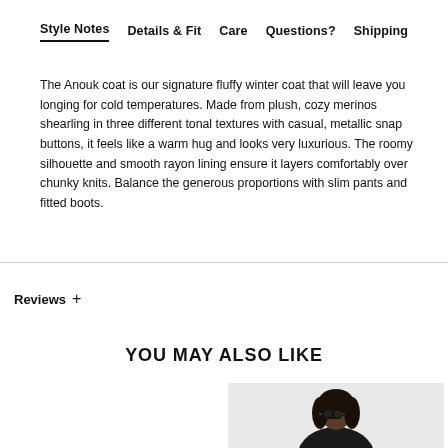Style Notes   Details & Fit   Care   Questions?   Shipping
The Anouk coat is our signature fluffy winter coat that will leave you longing for cold temperatures. Made from plush, cozy merinos shearling in three different tonal textures with casual, metallic snap buttons, it feels like a warm hug and looks very luxurious. The roomy silhouette and smooth rayon lining ensure it layers comfortably over chunky knits. Balance the generous proportions with slim pants and fitted boots.
Reviews +
YOU MAY ALSO LIKE
[Figure (photo): A woman with curly dark hair wearing sunglasses and a dark outfit, photographed from the torso up against a light background.]